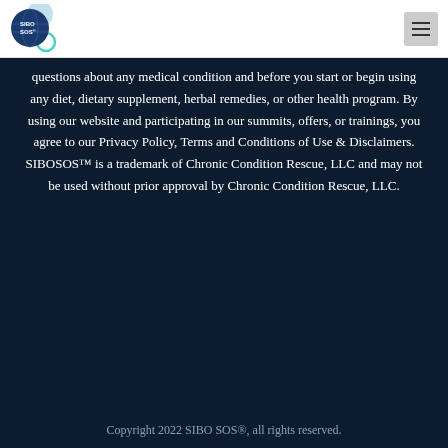[Figure (logo): SIBO SOS logo with blue circles and globe icon]
questions about any medical condition and before you start or begin using any diet, dietary supplement, herbal remedies, or other health program. By using our website and participating in our summits, offers, or trainings, you agree to our Privacy Policy, Terms and Conditions of Use & Disclaimers. SIBOSOS™ is a trademark of Chronic Condition Rescue, LLC and may not be used without prior approval by Chronic Condition Rescue, LLC.
Copyright 2022 SIBO SOS®, all rights reserved.